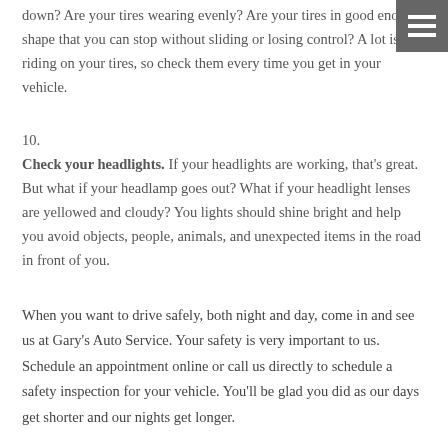down? Are your tires wearing evenly? Are your tires in good enough shape that you can stop without sliding or losing control? A lot is riding on your tires, so check them every time you get in your vehicle.
10. Check your headlights. If your headlights are working, that's great. But what if your headlamp goes out? What if your headlight lenses are yellowed and cloudy? You lights should shine bright and help you avoid objects, people, animals, and unexpected items in the road in front of you.
When you want to drive safely, both night and day, come in and see us at Gary's Auto Service. Your safety is very important to us. Schedule an appointment online or call us directly to schedule a safety inspection for your vehicle. You'll be glad you did as our days get shorter and our nights get longer.